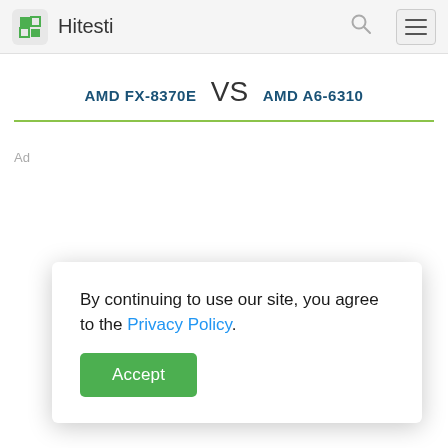Hitesti
AMD FX-8370E VS AMD A6-6310
By continuing to use our site, you agree to the Privacy Policy.
Accept